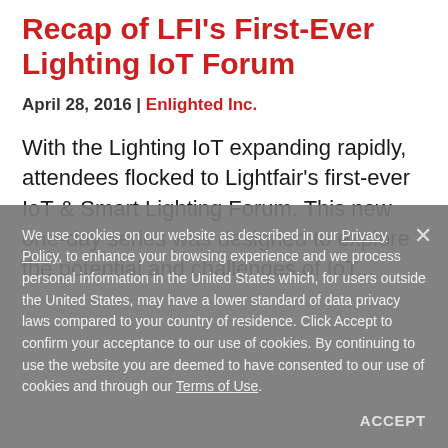Recap of LFI's First-Ever Lighting IoT Forum
April 28, 2016 | Enlighted Inc.
With the Lighting IoT expanding rapidly, attendees flocked to Lightfair's first-ever IoT & Smart Lighting Forum. This new one-day series was designed to explore the potential and challenges of IoT...
We use cookies on our website as described in our Privacy Policy, to enhance your browsing experience and we process personal information in the United States which, for users outside the United States, may have a lower standard of data privacy laws compared to your country of residence. Click Accept to confirm your acceptance to our use of cookies. By continuing to use the website you are deemed to have consented to our use of cookies and through our Terms of Use.
ACCEPT